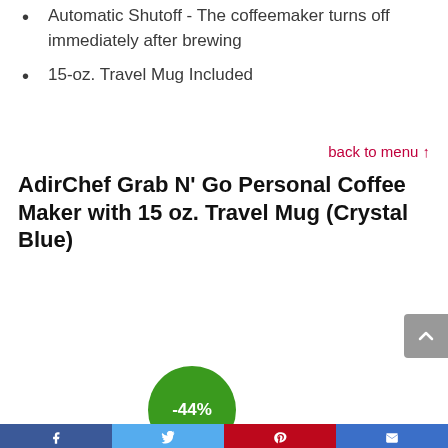Automatic Shutoff - The coffeemaker turns off immediately after brewing
15-oz. Travel Mug Included
back to menu ↑
AdirChef Grab N' Go Personal Coffee Maker with 15 oz. Travel Mug (Crystal Blue)
[Figure (other): Green circular discount badge showing -44%]
[Figure (other): Social sharing bar at bottom with Facebook, Twitter, Pinterest, and email icons]